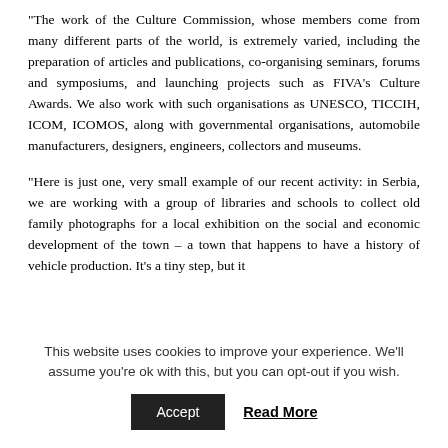“The work of the Culture Commission, whose members come from many different parts of the world, is extremely varied, including the preparation of articles and publications, co-organising seminars, forums and symposiums, and launching projects such as FIVA’s Culture Awards. We also work with such organisations as UNESCO, TICCIH, ICOM, ICOMOS, along with governmental organisations, automobile manufacturers, designers, engineers, collectors and museums.
“Here is just one, very small example of our recent activity: in Serbia, we are working with a group of libraries and schools to collect old family photographs for a local exhibition on the social and economic development of the town – a town that happens to have a history of vehicle production. It’s a tiny step, but it
This website uses cookies to improve your experience. We’ll assume you’re ok with this, but you can opt-out if you wish.
Accept  Read More